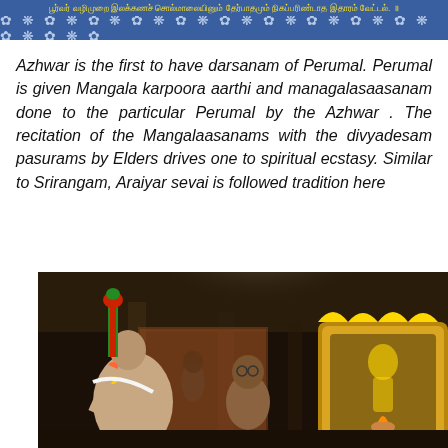பூர்வர் வழிமுறை இலக்கணச் சொல்மாலையினும் தேர்பாதமும் நிகப்பரிண்டாத இதாரம் வேட்டல். ॥
Azhwar is the first to have darsanam of Perumal. Perumal is given Mangala karpoora aarthi and managalasaasanam done to the particular Perumal by the Azhwar . The recitation of the Mangalaasanams with the divyadesam pasurams by Elders drives one to spiritual ecstasy. Similar to Srirangam, Araiyar sevai is followed tradition here
[Figure (photo): Photograph of a Hindu temple ritual scene inside a temple, showing priests and devotees with a golden shrine/idol visible on the right, decorated with ornate golden frame. A person wearing traditional attire with a red and green decorated stick/staff is visible on the left. The interior is dimly lit with temple pillars in the background.]